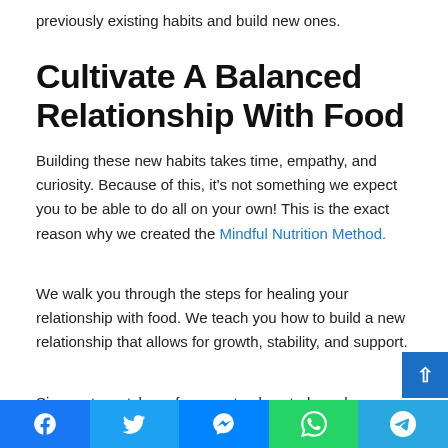previously existing habits and build new ones.
Cultivate A Balanced Relationship With Food
Building these new habits takes time, empathy, and curiosity. Because of this, it's not something we expect you to be able to do all on your own! This is the exact reason why we created the Mindful Nutrition Method.
We walk you through the steps for healing your relationship with food. We teach you how to build a new relationship that allows for growth, stability, and support.
Sign up to watch my free masterclass today, where you'll le